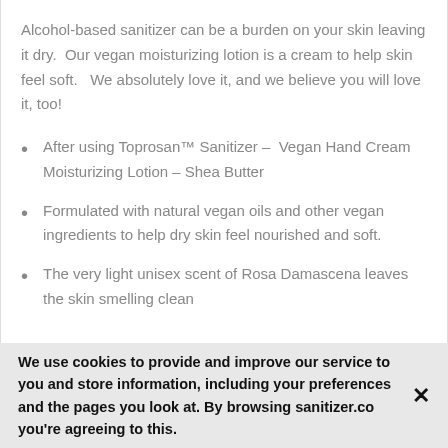Alcohol-based sanitizer can be a burden on your skin leaving it dry.  Our vegan moisturizing lotion is a cream to help skin feel soft.   We absolutely love it, and we believe you will love it, too!
After using Toprosan™ Sanitizer –  Vegan Hand Cream Moisturizing Lotion – Shea Butter
Formulated with natural vegan oils and other vegan ingredients to help dry skin feel nourished and soft.
The very light unisex scent of Rosa Damascena leaves the skin smelling clean
We use cookies to provide and improve our service to you and store information, including your preferences and the pages you look at. By browsing sanitizer.co you're agreeing to this.